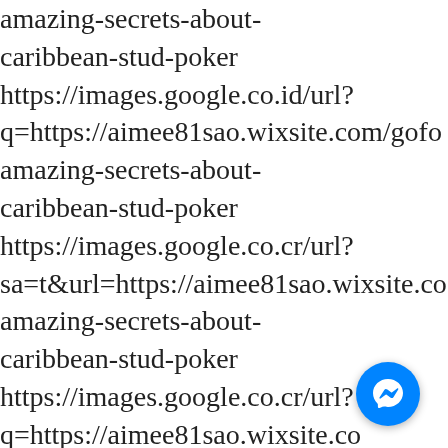amazing-secrets-about-caribbean-stud-poker https://images.google.co.id/url?q=https://aimee81sao.wixsite.com/gofo amazing-secrets-about-caribbean-stud-poker https://images.google.co.cr/url?sa=t&url=https://aimee81sao.wixsite.co amazing-secrets-about-caribbean-stud-poker https://images.google.co.cr/url?q=https://aimee81sao.wixsite.co/gofo amazing-secrets-about-
[Figure (other): Facebook Messenger chat button (blue circle with white lightning bolt/messenger icon)]